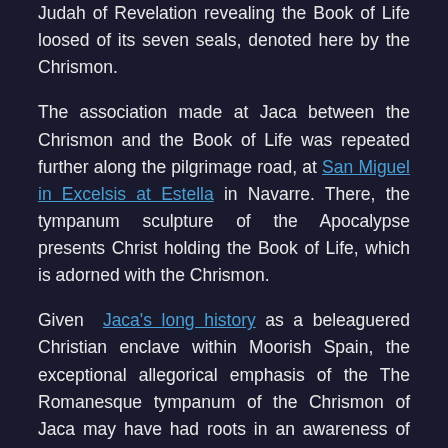Judah of Revelation revealing the Book of Life loosed of its seven seals, denoted here by the Chrismon.
The association made at Jaca between the Chrismon and the Book of Life was repeated further along the pilgrimage road, at San Miguel in Excelsis at Estella in Navarre. There, the tympanum sculpture of the Apocalypse presents Christ holding the Book of Life, which is adorned with the Chrismon.
Given Jaca's long history as a beleaguered Christian enclave within Moorish Spain, the exceptional allegorical emphasis of the The Romanesque tympanum of the Chrismon of Jaca may have had roots in an awareness of the Islamic injunction against the portrayal of the